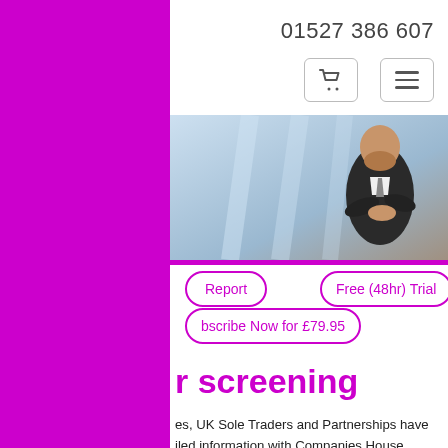ake our site work, but ics cookies to help l cookies unless you your preferences, o remember them
ept all cookies
Additional Options
01527 386 607
[Figure (photo): Business professional in suit leaning against railing, looking thoughtful, modern glass building background]
Report   Free (48hr) Trial
bscribe Now for £79.95
r screening
es, UK Sole Traders and Partnerships have iled information with Companies House, is less data publicly available about this e business community. Discover more about e customer screening service which allows